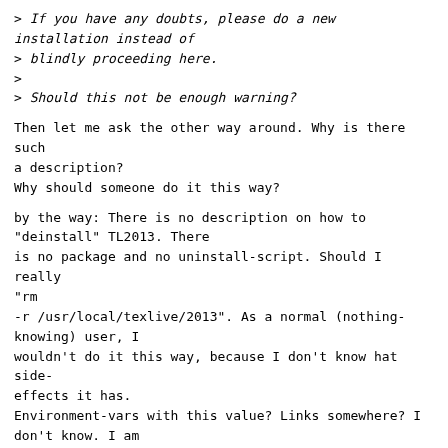>    If you have any doubts, please do a new installation instead of
>    blindly proceeding here.
>
> Should this not be enough warning?
Then let me ask the other way around. Why is there such a description?
Why should someone do it this way?
by the way: There is no description on how to "deinstall" TL2013. There
is no package and no uninstall-script. Should I really "rm
-r /usr/local/texlive/2013". As a normal (nothing-knowing) user, I
wouldn't do it this way, because I don't know hat side-effects it has.
Environment-vars with this value? Links somewhere? I don't know. I am
only a user. A TL-script installed it for me, so there should be a
script for removing or a simple description/docu that says: "Yes! It is
so easy! Just 'rm -r'".
As someone here pointed out: There are different ways of thinking and
viewing something.